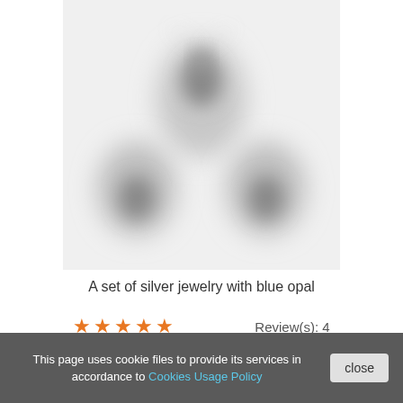[Figure (photo): A blurry/out-of-focus photo of a set of silver jewelry with blue opal on a white background. Three pieces visible: one pendant at top center and two items at bottom left and right.]
A set of silver jewelry with blue opal
★★★★★  Review(s): 4
This page uses cookie files to provide its services in accordance to Cookies Usage Policy  close